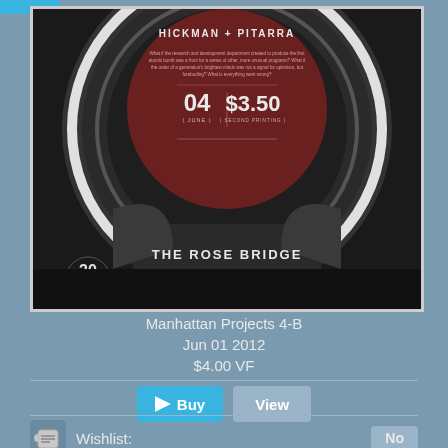[Figure (illustration): Comic book cover for Manhattan Projects #4, second printing. Dark/black and dark grey circular speaker-like design on cover. Red/maroon central circle with text 'HICKMAN + PITARRA', issue number '04 JUNE', price '$3.50 SECOND PRINTING', and descriptive body text. 'THE ROSE BRIDGE' text at bottom. Image Comics 20th anniversary logo bottom left.]
Manhattan Projects 4-B
Jun 01 2012
$4.00 VF
Buy
View
Wishlist:
No